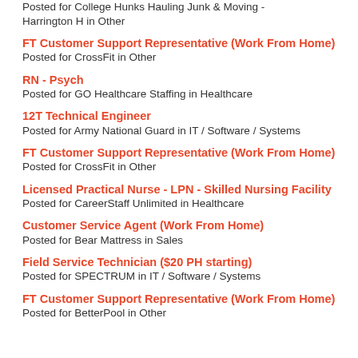Posted for College Hunks Hauling Junk & Moving - Harrington H in Other
FT Customer Support Representative (Work From Home)
Posted for CrossFit in Other
RN - Psych
Posted for GO Healthcare Staffing in Healthcare
12T Technical Engineer
Posted for Army National Guard in IT / Software / Systems
FT Customer Support Representative (Work From Home)
Posted for CrossFit in Other
Licensed Practical Nurse - LPN - Skilled Nursing Facility
Posted for CareerStaff Unlimited in Healthcare
Customer Service Agent (Work From Home)
Posted for Bear Mattress in Sales
Field Service Technician ($20 PH starting)
Posted for SPECTRUM in IT / Software / Systems
FT Customer Support Representative (Work From Home)
Posted for BetterPool in Other